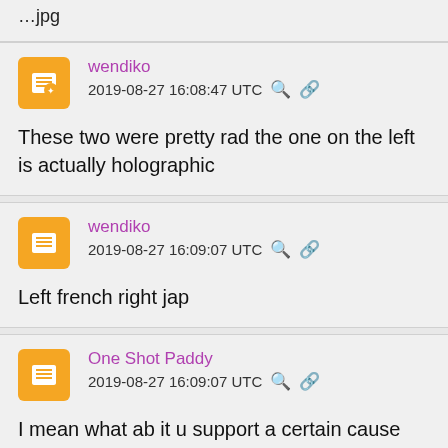…jpg
wendiko
2019-08-27 16:08:47 UTC
These two were pretty rad the one on the left is actually holographic
wendiko
2019-08-27 16:09:07 UTC
Left french right jap
One Shot Paddy
2019-08-27 16:09:07 UTC
I mean what ab it u support a certain cause and ur wearing a shirt to show support